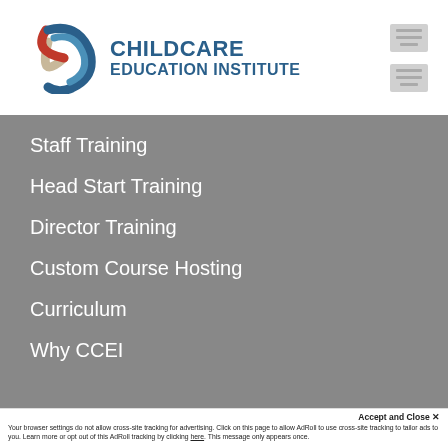[Figure (logo): ChildCare Education Institute logo with circular emblem (blue, red, tan arcs) and blue text]
Staff Training
Head Start Training
Director Training
Custom Course Hosting
Curriculum
Why CCEI
Accept and Close ✕
Your browser settings do not allow cross-site tracking for advertising. Click on this page to allow AdRoll to use cross-site tracking to tailor ads to you. Learn more or opt out of this AdRoll tracking by clicking here. This message only appears once.